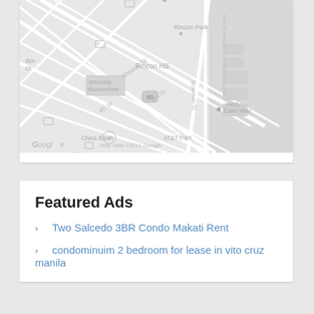[Figure (map): Google Maps screenshot showing San Francisco area including Rincon Park, Rincon Hill, SFMOMA Museum Store, China Basin, AT&T Park, Herb Caen Way, streets including Mission St, Brannan St, 3rd St, 4th St, and Interstate 80. Map data ©2011 Google.]
Featured Ads
Two Salcedo 3BR Condo Makati Rent
condominuim 2 bedroom for lease in vito cruz manila